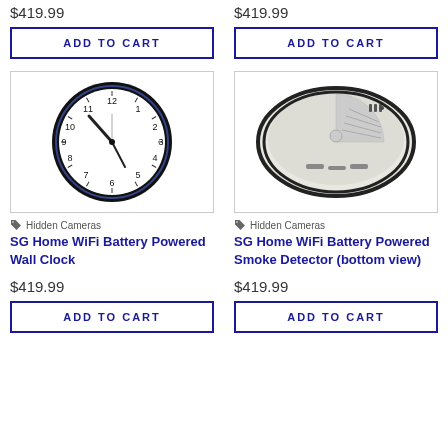$419.99
ADD TO CART
$419.99
ADD TO CART
[Figure (photo): Wall clock with black round frame showing time approximately 10:10, white face with black numerals 1-12]
Hidden Cameras
SG Home WiFi Battery Powered Wall Clock
$419.99
ADD TO CART
[Figure (photo): White circular smoke detector viewed from bottom, showing vented sections and two black stripe rings around edge]
Hidden Cameras
SG Home WiFi Battery Powered Smoke Detector (bottom view)
$419.99
ADD TO CART